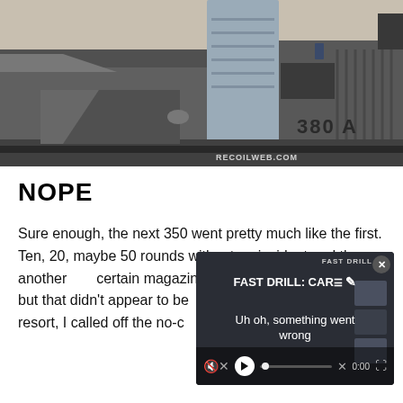[Figure (photo): Close-up photo of a pistol slide and magazine area, metallic gray parts, with '380 A' engraved text visible and 'RECOILWEB.COM' watermark in the lower right. Beige/tan background.]
NOPE
Sure enough, the next 350 went pretty much like the first. Ten, 20, maybe 50 rounds without an incident and then another [text obscured by video overlay] certain magazines to see i[f obscured] but that didn't appear to be[obscured] resort, I called off the no-c[obscured]
[Figure (screenshot): Video player overlay in bottom right corner. Dark background. Top label reads 'FAST DRILL'. Close button (x) in top right. Main text reads 'FAST DRILL: CAR' then 'Uh oh, something went wrong'. Mute icon on left. Play button, progress bar, X mark, time '0:00', fullscreen button. Thumbnail boxes on right side.]